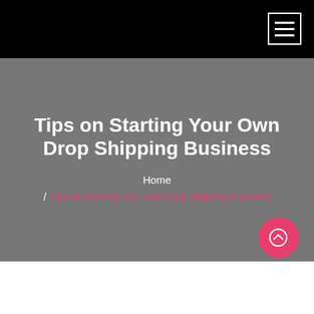Tips on Starting Your Own Drop Shipping Business
Home / Tips on Starting Your Own Drop Shipping Business